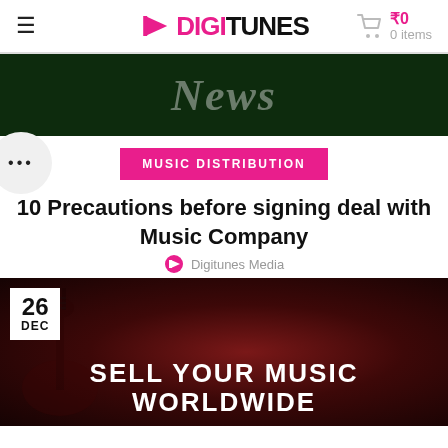DIGITUNES ₹0 0 items
News
• • •
MUSIC DISTRIBUTION
10 Precautions before signing deal with Music Company
Digitunes Media
[Figure (photo): Promotional banner image showing a guitar with dark background. Text overlay reads 'SELL YOUR MUSIC WORLDWIDE'. Date badge shows '26 DEC'.]